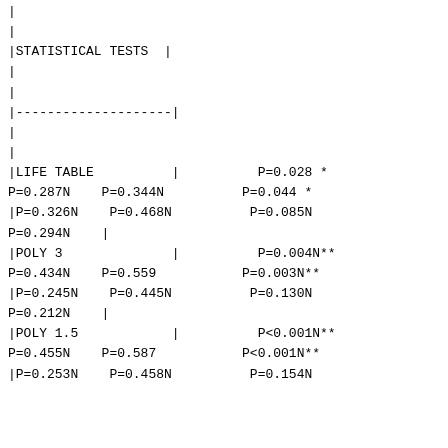| | |
| | |
| |STATISTICAL TESTS  | |
| | |
| | |
| |--------------------| |
| | |
| | |
| |LIFE TABLE          |          P=0.028 * |
| P=0.287N    P=0.344N          P=0.044 * |
| |P=0.326N    P=0.468N          P=0.085N |
| P=0.294N    | |
| |POLY 3              |          P=0.004N** |
| P=0.434N    P=0.559           P=0.003N** |
| |P=0.245N    P=0.445N          P=0.130N |
| P=0.212N    | |
| |POLY 1.5            |          P<0.001N** |
| P=0.455N    P=0.587           P<0.001N** |
| |P=0.253N    P=0.458N          P=0.154N |